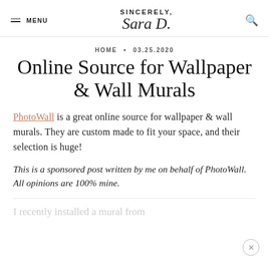MENU  SINCERELY, Sara D.
HOME • 03.25.2020
Online Source for Wallpaper & Wall Murals
PhotoWall is a great online source for wallpaper & wall murals. They are custom made to fit your space, and their selection is huge!
This is a sponsored post written by me on behalf of PhotoWall. All opinions are 100% mine.
I recently installed a mural from